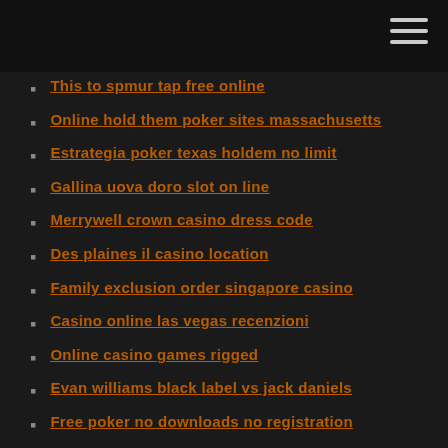This to spmur tap free online
Online hold them poker sites massachusetts
Estrategia poker texas holdem no limit
Gallina uova doro slot on line
Merrywell crown casino dress code
Des plaines il casino location
Family exclusion order singapore casino
Casino online las vegas recenzioni
Online casino games rigged
Evan williams black label vs jack daniels
Free poker no downloads no registration
Pro and con of gambling
Zumtobel slot 2 k led
Lasvegas usa online casino
Bonus casino sign on bonus